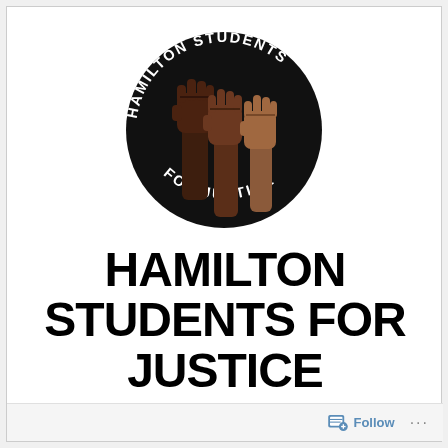[Figure (logo): Circular black logo with three raised fists in different skin tones (dark brown, medium brown, light brown) in the center. White text around the circle reads 'HAMILTON STUDENTS' on the top arc and 'FOR JUSTICE' on the bottom arc.]
HAMILTON STUDENTS FOR JUSTICE
Follow ...